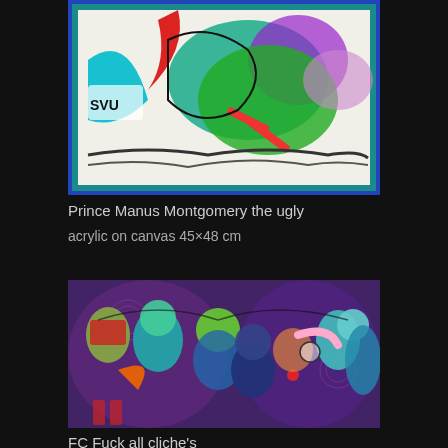[Figure (illustration): Colorful chaotic artwork with cartoon/comic-style creatures, monsters and figures in bright teal, green, red, purple on white background with blue border. Text 'SVO' visible on left side.]
Prince Manus Montgomery the ugly
acrylic on canvas 45×48 cm
[Figure (illustration): Colorful expressionist painting of a group of grotesque fantasy figures/characters in teal, blue, green, orange, purple tones on a purple swirling background. Multiple humanoid figures with exaggerated features crowded together.]
FC Fuck all cliche's